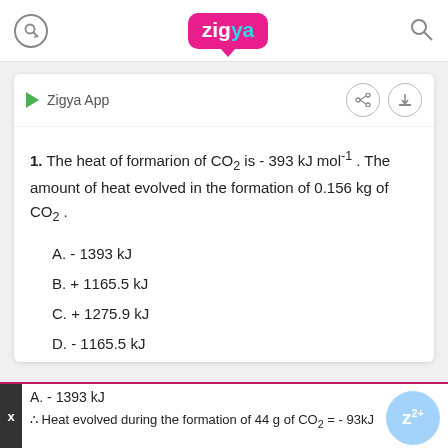Zigya App
1.  The heat of formarion of CO₂ is - 393 kJ mol⁻¹ . The amount of heat evolved in the formation of 0.156 kg of CO₂ .
A. - 1393 kJ
B. + 1165.5 kJ
C. + 1275.9 kJ
D. - 1165.5 kJ
A. - 1393 kJ
∴ Heat evolved during the formation of 44 g of CO₂ = - 93kJ